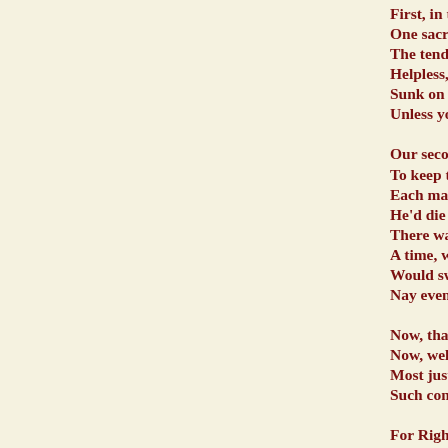First, in the Sexes-
One sacred Right-
The tender flower-
Helpless, must fall-
Sunk on the earth-
Unless your shelte-

Our second Right-
To keep that right-
Each man of sense-
He'd die before he-
There was, indeed-
A time, when roug-
Would swagger, sw-
Nay even thus inva-

Now, thank our sta-
Now, well-bred me-
Most justly think t-
Such conduct neith-

For Right the thir-
That right to flutte-
Which even the Ri-
Most humbly own-
In that blest spher-
There taste that li-
Smiles, glances, si-